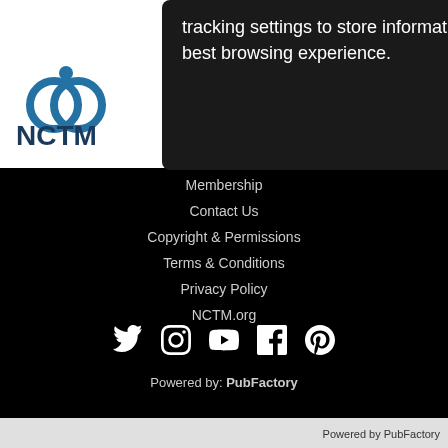[Figure (logo): NCTM logo with blue circular interlocking symbol and dark blue text 'NCTM' below]
tracking settings to store information that help give you the very best browsing experience.
Search
Membership
Contact Us
Copyright & Permissions
Terms & Conditions
Privacy Policy
NCTM.org
[Figure (other): Social media icons row: Twitter, Instagram, YouTube, Facebook, Pinterest — all white on black background]
Powered by: PubFactory
Powered by PubFactory